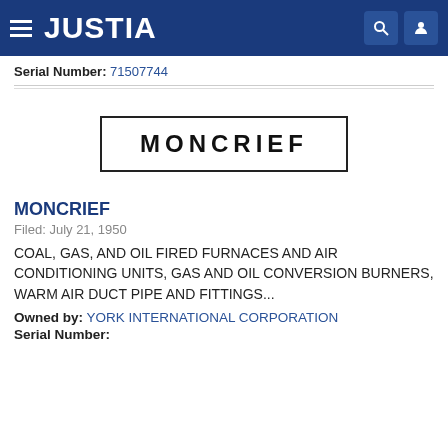JUSTIA
Serial Number: 71507744
[Figure (other): MONCRIEF trademark text inside a rectangular border box]
MONCRIEF
Filed: July 21, 1950
COAL, GAS, AND OIL FIRED FURNACES AND AIR CONDITIONING UNITS, GAS AND OIL CONVERSION BURNERS, WARM AIR DUCT PIPE AND FITTINGS...
Owned by: YORK INTERNATIONAL CORPORATION
Serial Number: